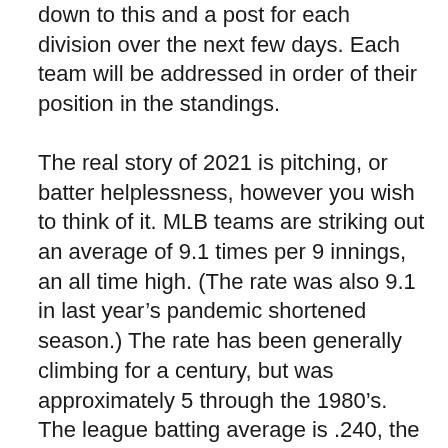down to this and a post for each division over the next few days. Each team will be addressed in order of their position in the standings.
The real story of 2021 is pitching, or batter helplessness, however you wish to think of it. MLB teams are striking out an average of 9.1 times per 9 innings, an all time high. (The rate was also 9.1 in last year’s pandemic shortened season.) The rate has been generally climbing for a century, but was approximately 5 through the 1980’s. The league batting average is .240, the lowest since the “Year of the Pitcher” in 1968 (.237). There are 1.56 doubles per team per game, the lowest since 1992. There are 0.13 triples per game, the lowest ever.